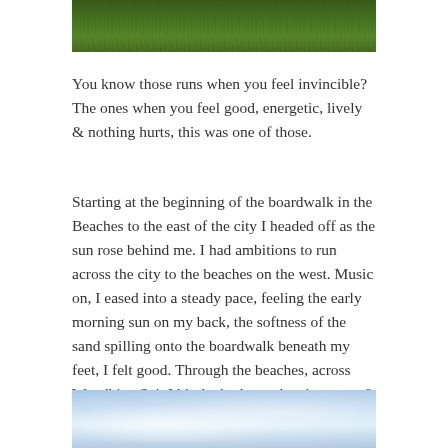[Figure (photo): Top portion of a photo showing green grass, partially cropped at the top of the page]
You know those runs when you feel invincible? The ones when you feel good, energetic, lively & nothing hurts, this was one of those.
Starting at the beginning of the boardwalk in the Beaches to the east of the city I headed off as the sun rose behind me. I had ambitions to run across the city to the beaches on the west. Music on, I eased into a steady pace, feeling the early morning sun on my back, the softness of the sand spilling onto the boardwalk beneath my feet, I felt good. Through the beaches, across Woodbine Spit I hit the harbour, the city scape & iconic CN Tower creeping ever closer.
[Figure (photo): Bottom portion of a photo showing a sky with blue tones and clouds, partially cropped at the bottom of the page]